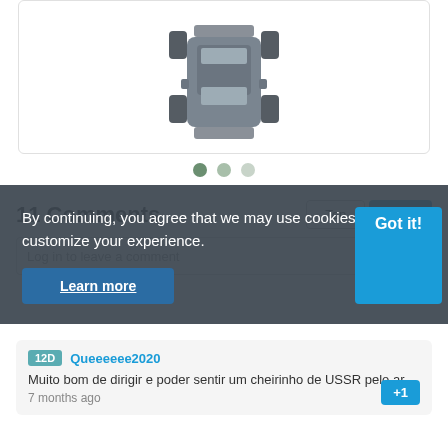[Figure (illustration): Top-down view of a gray vehicle/car schematic on white background inside a rounded rectangle card]
[Figure (other): Carousel navigation dots: three circles, first dark green (active), second light green, third lighter gray-green]
11 Comments
[Figure (screenshot): Cookie consent overlay with text: 'By continuing, you agree that we may use cookies to help customize your experience.' with a 'Learn more' button and a 'Got it!' button]
By continuing, you agree that we may use cookies to help customize your experience.
Learn more
Got it!
12D  Queeeeee2020
Muito bom de dirigir e poder sentir um cheirinho de USSR pelo ar
7 months ago
+1